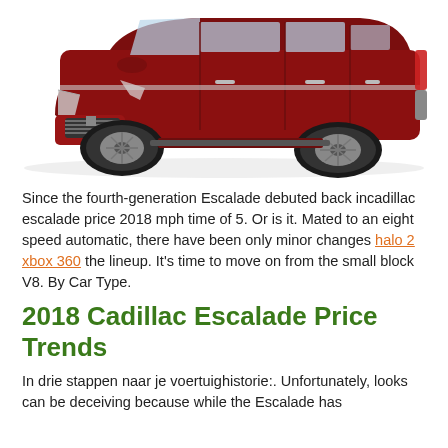[Figure (photo): A dark red/maroon Cadillac Escalade SUV photographed from a front three-quarter angle on a white background.]
Since the fourth-generation Escalade debuted back incadillac escalade price 2018 mph time of 5. Or is it. Mated to an eight speed automatic, there have been only minor changes halo 2 xbox 360 the lineup. It's time to move on from the small block V8. By Car Type.
2018 Cadillac Escalade Price Trends
In drie stappen naar je voertuighistorie:. Unfortunately, looks can be deceiving because while the Escalade has